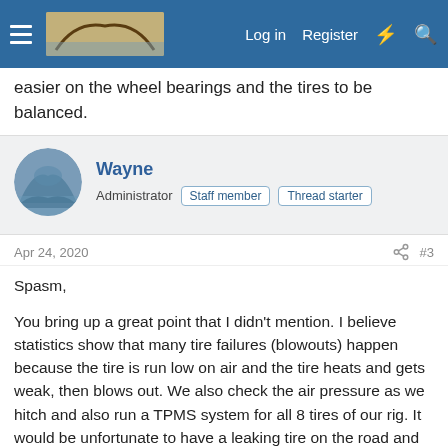Log in  Register
easier on the wheel bearings and the tires to be balanced.
Wayne
Administrator  Staff member  Thread starter
Apr 24, 2020  #3
Spasm,

You bring up a great point that I didn't mention. I believe statistics show that many tire failures (blowouts) happen because the tire is run low on air and the tire heats and gets weak, then blows out. We also check the air pressure as we hitch and also run a TPMS system for all 8 tires of our rig. It would be unfortunate to have a leaking tire on the road and keep driving on it, then blow the tire out and ruin the nice shiny aluminum. The TPMS alarm warns of low pressure and leaking. We haven't had any low tires yet, but it's just a matter of time.